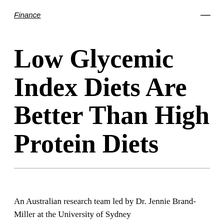Finance
Low Glycemic Index Diets Are Better Than High Protein Diets
An Australian research team led by Dr. Jennie Brand-Miller at the University of Sydney